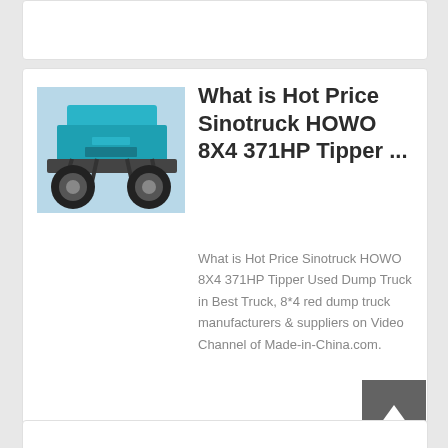[Figure (photo): Undercarriage of a Sinotruck HOWO dump truck, showing wheels, axle, and teal/turquoise chassis components]
What is Hot Price Sinotruck HOWO 8X4 371HP Tipper ...
What is Hot Price Sinotruck HOWO 8X4 371HP Tipper Used Dump Truck in Best Truck, 8*4 red dump truck manufacturers & suppliers on Video Channel of Made-in-China.com.
learn More